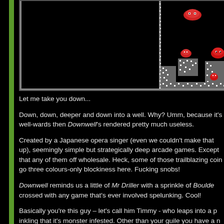[Figure (screenshot): Screenshot of the game Downwell showing a black background with white pixel-art cave walls, red enemy creatures (mushroom-like), and game elements in a vertical well environment.]
Let me take you down...
Down, down, deeper and down into a well. Why? Umm, because it's well-wards then Downwell's rendered pretty much useless.
Created by a Japanese opera singer (even we couldn't make that up), Downwell is one of those seemingly simple but strategically deep arcade games. Except that the arcades wouldn't take any of them off wholesale. Heck, some of those trailblazing coin gos probably laughed at the three colours-only blockiness here. Fucking snobs!
Downwell reminds us a little of Mr Driller with a sprinkle of Boulerdash and possibly crossed with any game that's ever involved spelunking. Cool!
Basically you're this guy – let's call him Timmy - who leaps into a pit with a slight inkling that it's monster infested. Other than your guile you have a nifty pair of 'gunboots'. Making even Docs look rather utilitarian, they have sh